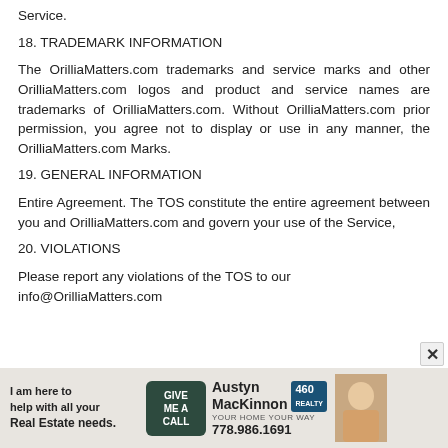Service.
18. TRADEMARK INFORMATION
The OrilliaMatters.com trademarks and service marks and other OrilliaMatters.com logos and product and service names are trademarks of OrilliaMatters.com. Without OrilliaMatters.com prior permission, you agree not to display or use in any manner, the OrilliaMatters.com Marks.
19. GENERAL INFORMATION
Entire Agreement. The TOS constitute the entire agreement between you and OrilliaMatters.com and govern your use of the Service,
20. VIOLATIONS
Please report any violations of the TOS to our info@OrilliaMatters.com
[Figure (advertisement): Real estate advertisement for Austyn MacKinnon with phone number 778.986.1691 and 460 Realty logo]